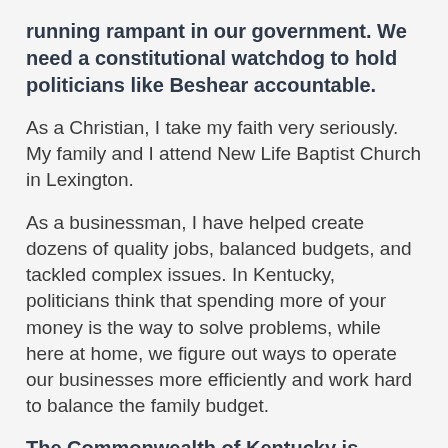running rampant in our government. We need a constitutional watchdog to hold politicians like Beshear accountable.
As a Christian, I take my faith very seriously. My family and I attend New Life Baptist Church in Lexington.
As a businessman, I have helped create dozens of quality jobs, balanced budgets, and tackled complex issues. In Kentucky, politicians think that spending more of your money is the way to solve problems, while here at home, we figure out ways to operate our businesses more efficiently and work hard to balance the family budget.
The Commonwealth of Kentucky is facing enormous issues due to government overreach and out-of-control spending. Career politicians